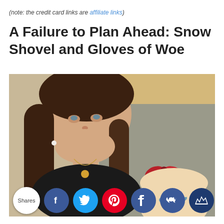(note: the credit card links are affiliate links)
A Failure to Plan Ahead: Snow Shovel and Gloves of Woe
[Figure (photo): A woman with long brown hair wearing a black top and necklace smiling at the camera, sitting next to a baby wearing a large red bow headband on a grey sofa.]
Shares